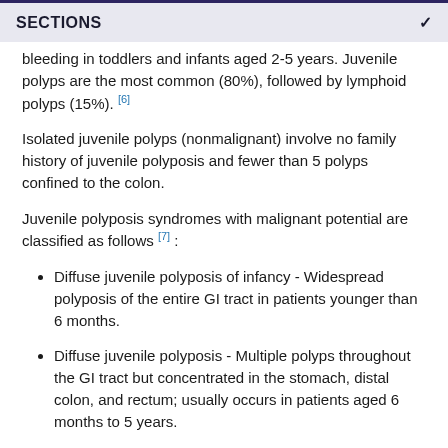SECTIONS
bleeding in toddlers and infants aged 2-5 years. Juvenile polyps are the most common (80%), followed by lymphoid polyps (15%). [6]
Isolated juvenile polyps (nonmalignant) involve no family history of juvenile polyposis and fewer than 5 polyps confined to the colon.
Juvenile polyposis syndromes with malignant potential are classified as follows [7] :
Diffuse juvenile polyposis of infancy - Widespread polyposis of the entire GI tract in patients younger than 6 months.
Diffuse juvenile polyposis - Multiple polyps throughout the GI tract but concentrated in the stomach, distal colon, and rectum; usually occurs in patients aged 6 months to 5 years.